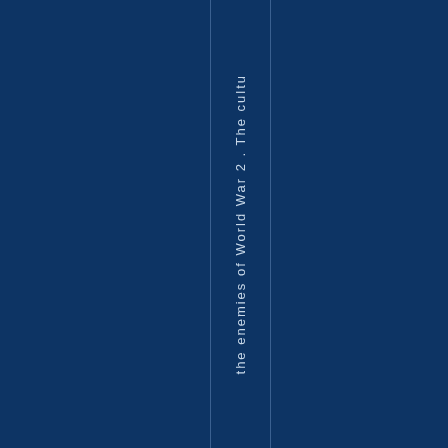[Figure (other): Book spine on dark navy blue background. Vertical text reads 'the enemies of World War 2 . The cultu' running down the spine between two thin vertical lines.]